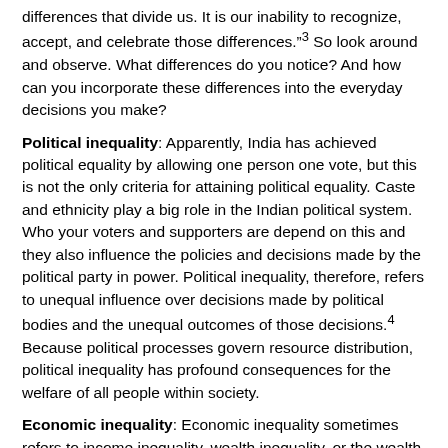differences that divide us. It is our inability to recognize, accept, and celebrate those differences.”³ So look around and observe. What differences do you notice? And how can you incorporate these differences into the everyday decisions you make?
Political inequality: Apparently, India has achieved political equality by allowing one person one vote, but this is not the only criteria for attaining political equality. Caste and ethnicity play a big role in the Indian political system. Who your voters and supporters are depend on this and they also influence the policies and decisions made by the political party in power. Political inequality, therefore, refers to unequal influence over decisions made by political bodies and the unequal outcomes of those decisions.⁴ Because political processes govern resource distribution, political inequality has profound consequences for the welfare of all people within society.
Economic inequality: Economic inequality sometimes refers to income inequality, wealth inequality, or the wealth gap. Economists generally focus on economic disparity under three metrics – wealth, income, and consumption.⁵ The effect of economic inequality may be seen in the overall economic growth, crime rate, and physical and mental health of the broader population.